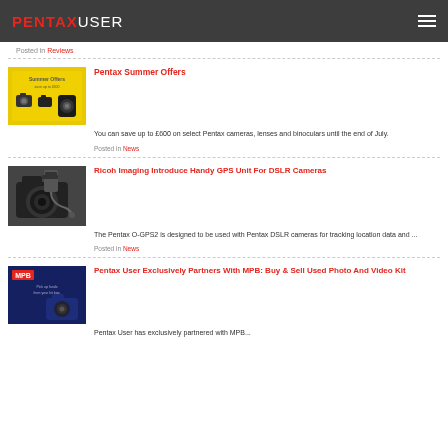PENTAXUSER
Posted in Reviews
Pentax Summer Offers
[Figure (photo): Pentax Summer Offers promotional image with yellow background showing cameras and accessories]
You can save up to £600 on select Pentax cameras, lenses and binoculars until the end of July.
Posted in News
Ricoh Imaging Introduce Handy GPS Unit For DSLR Cameras
[Figure (photo): Photo of a Pentax DSLR camera with GPS unit attached and cable]
The Pentax O-GPS2 is designed to be used with Pentax DSLR cameras for tracking location data and ...
Posted in News
Pentax User Exclusively Partners With MPB: Buy & Sell Used Photo And Video Kit
[Figure (photo): MPB promotional banner with dark blue background showing a DSLR camera]
Pentax User has exclusively partnered with MPB...